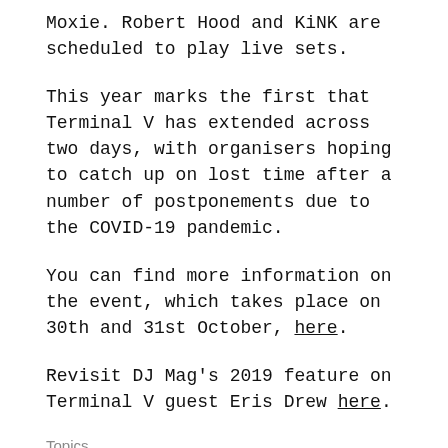Moxie. Robert Hood and KiNK are scheduled to play live sets.
This year marks the first that Terminal V has extended across two days, with organisers hoping to catch up on lost time after a number of postponements due to the COVID-19 pandemic.
You can find more information on the event, which takes place on 30th and 31st October, here.
Revisit DJ Mag's 2019 feature on Terminal V guest Eris Drew here.
Topics
Terminal V
Edinburgh
Honey Dijon
Eris Drew
Ben UFO
Robert Hood